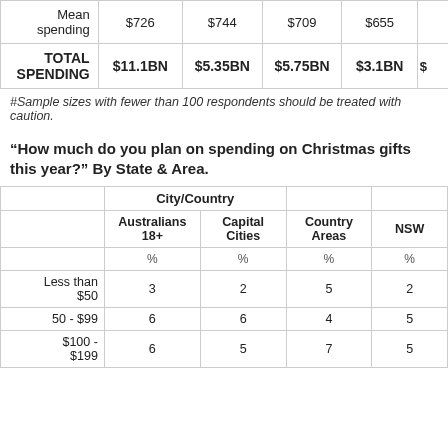|  | Australians 18+ | Capital Cities | Country Areas | NSW |
| --- | --- | --- | --- | --- |
| Mean spending | $726 | $744 | $709 | $655 |
| TOTAL SPENDING | $11.1BN | $5.35BN | $5.75BN | $3.1BN |
#Sample sizes with fewer than 100 respondents should be treated with caution.
“How much do you plan on spending on Christmas gifts this year?” By State & Area.
|  | Australians 18+ | Capital Cities | Country Areas | NSW |
| --- | --- | --- | --- | --- |
|  | % | % | % | % |
| Less than $50 | 3 | 2 | 5 | 2 |
| 50 - $99 | 6 | 6 | 4 | 5 |
| $100 - $199 | 6 | 5 | 7 | 5 |